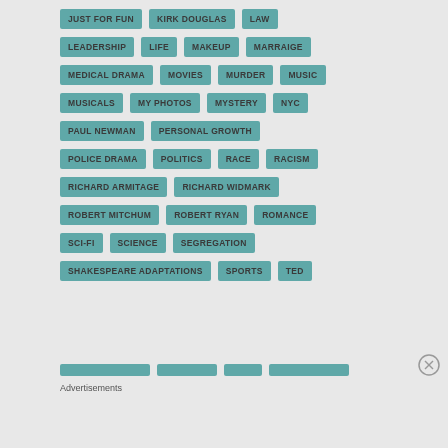JUST FOR FUN
KIRK DOUGLAS
LAW
LEADERSHIP
LIFE
MAKEUP
MARRAIGE
MEDICAL DRAMA
MOVIES
MURDER
MUSIC
MUSICALS
MY PHOTOS
MYSTERY
NYC
PAUL NEWMAN
PERSONAL GROWTH
POLICE DRAMA
POLITICS
RACE
RACISM
RICHARD ARMITAGE
RICHARD WIDMARK
ROBERT MITCHUM
ROBERT RYAN
ROMANCE
SCI-FI
SCIENCE
SEGREGATION
SHAKESPEARE ADAPTATIONS
SPORTS
TED
Advertisements